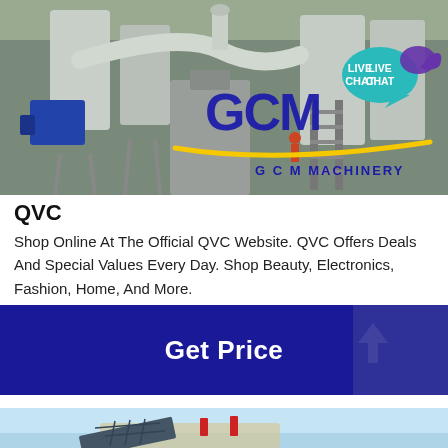[Figure (photo): Industrial machinery photo showing large grey powder grinding/milling equipment in a factory setting. GCM Machinery logo overlaid in blue with yellow swoosh and 'LIVE CHAT' bubble in teal/purple in upper right corner.]
QVC
Shop Online At The Official QVC Website. QVC Offers Deals And Special Values Every Day. Shop Beauty, Electronics, Fashion, Home, And More.
[Figure (illustration): Blue sky background with industrial machinery/equipment partially visible at bottom — appears to be a large machine with solar panel-like structure and red accent pieces.]